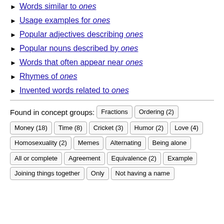Words similar to ones
Usage examples for ones
Popular adjectives describing ones
Popular nouns described by ones
Words that often appear near ones
Rhymes of ones
Invented words related to ones
Found in concept groups: Fractions Ordering (2) Money (18) Time (8) Cricket (3) Humor (2) Love (4) Homosexuality (2) Memes Alternating Being alone All or complete Agreement Equivalence (2) Example Joining things together Only Not having a name